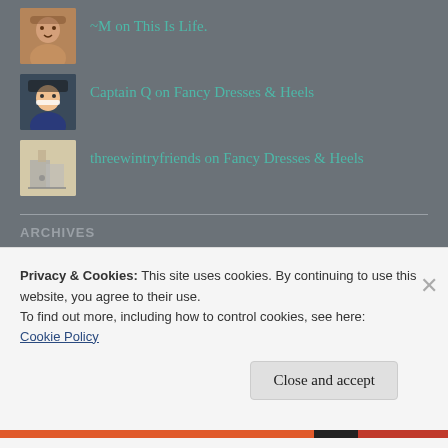-M on This Is Life.
Captain Q on Fancy Dresses & Heels
threewintryfriends on Fancy Dresses & Heels
ARCHIVES
August 2022
Privacy & Cookies: This site uses cookies. By continuing to use this website, you agree to their use.
To find out more, including how to control cookies, see here: Cookie Policy
Close and accept